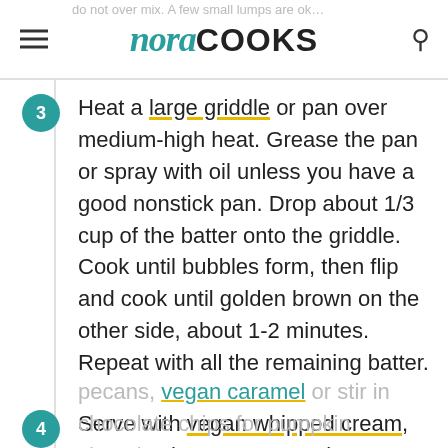nora COOKS
Heat a large griddle or pan over medium-high heat. Grease the pan or spray with oil unless you have a good nonstick pan. Drop about 1/3 cup of the batter onto the griddle. Cook until bubbles form, then flip and cook until golden brown on the other side, about 1-2 minutes. Repeat with all the remaining batter.
Serve with vegan whipped cream, pure maple syrup, vegan butter, chopped pecans, vegan caramel or stir in chocolate chips for pumpkin chocolate